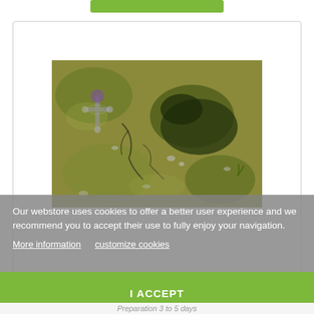[Figure (photo): A gaming battle mat showing mossy/grassy terrain with ruins, a decorative cross/gravestone, cracks in ground, and swampy patches in olive-green and dark tones.]
Ruins PATROL 44 X30 (112x76cm) - FOR...
21.95 €
Our webstore uses cookies to offer a better user experience and we recommend you to accept their use to fully enjoy your navigation.
More information   customize cookies
I ACCEPT
Preparation 3 to 5 days